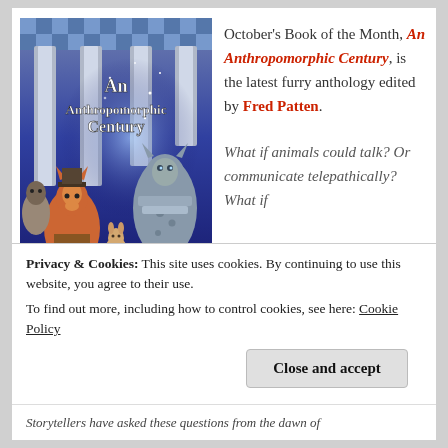[Figure (illustration): Book cover of 'An Anthropomorphic Century' showing anthropomorphic animal characters (a fox and others) playing chess, with a robotic/armored leopard in the background, set against cosmic and classical column imagery.]
October's Book of the Month, An Anthropomorphic Century, is the latest furry anthology edited by Fred Patten.
What if animals could talk? Or communicate telepathically? What if
Privacy & Cookies: This site uses cookies. By continuing to use this website, you agree to their use.
To find out more, including how to control cookies, see here: Cookie Policy
Close and accept
Storytellers have asked these questions from the dawn of